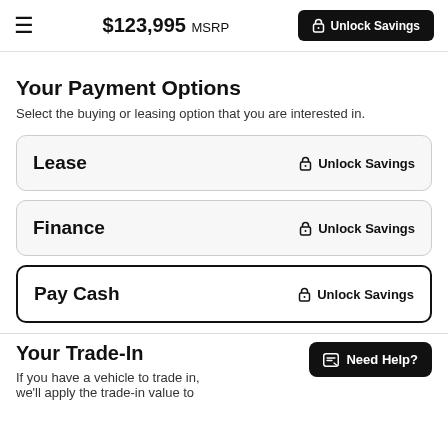$123,995 MSRP — Unlock Savings
Your Payment Options
Select the buying or leasing option that you are interested in.
Lease — Unlock Savings
Finance — Unlock Savings
Pay Cash — Unlock Savings
Your Trade-In
If you have a vehicle to trade in, we'll apply the trade-in value to